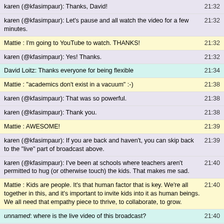karen (@kfasimpaur): Thanks, David! 21:32
karen (@kfasimpaur): Let's pause and all watch the video for a few minutes. 21:32
Mattie : I'm going to YouTube to watch. THANKS! 21:32
karen (@kfasimpaur): Yes! Thanks. 21:32
David Loitz: Thanks everyone for being flexible 21:34
Mattie : "academics don't exist in a vacuum" :-) 21:38
karen (@kfasimpaur): That was so powerful. 21:38
karen (@kfasimpaur): Thank you. 21:38
Mattie : AWESOME! 21:39
karen (@kfasimpaur): If you are back and haven't, you can skip back to the "live" part of broadcast above. 21:39
karen (@kfasimpaur): I've been at schools where teachers aren't permitted to hug (or otherwise touch) the kids. That makes me sad. 21:40
Mattie : Kids are people. It's that human factor that is key. We're all together in this, and it's important to invite kids into it as human beings. We all need that empathy piece to thrive, to collaborate, to grow. 21:40
unnamed: where is the live video of this broadcast? 21:40
karen (@kfasimpaur): It's at the top of this page. (embedded G+ window) Click play an then click ahead to "live" 21:41
karen (@kfasimpaur): David, thanks for going between the g+ and our chat here. That's helpful. :) 21:41
karen (@kfasimpaur): @unnamed, did you get to the live video? 21:42